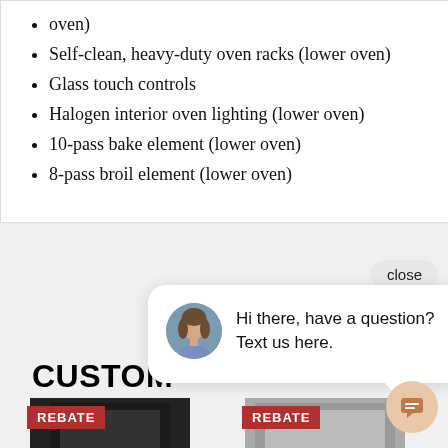oven)
Self-clean, heavy-duty oven racks (lower oven)
Glass touch controls
Halogen interior oven lighting (lower oven)
10-pass bake element (lower oven)
8-pass broil element (lower oven)
close
Hi there, have a question? Text us here.
CUSTOM
[Figure (photo): Two product appliances with REBATE badges]
REBATE
REBATE